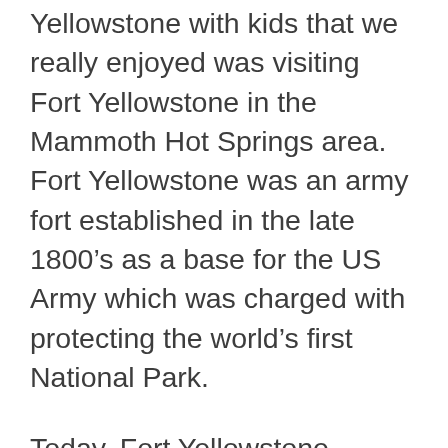Yellowstone with kids that we really enjoyed was visiting Fort Yellowstone in the Mammoth Hot Springs area. Fort Yellowstone was an army fort established in the late 1800’s as a base for the US Army which was charged with protecting the world’s first National Park.
Today, Fort Yellowstone houses the Yellowstone National Park headquarters, the Albright Visitor’s Centre and Yellowstone staff accommodation, so do be mindful when visiting and wandering around